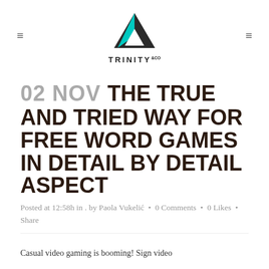≡  TRINITY&CO  ≡
02 NOV THE TRUE AND TRIED WAY FOR FREE WORD GAMES IN DETAIL BY DETAIL ASPECT
Posted at 12:58h in . by Paola Vukelić • 0 Comments • 0 Likes • Share
Casual video gaming is booming! Sign video